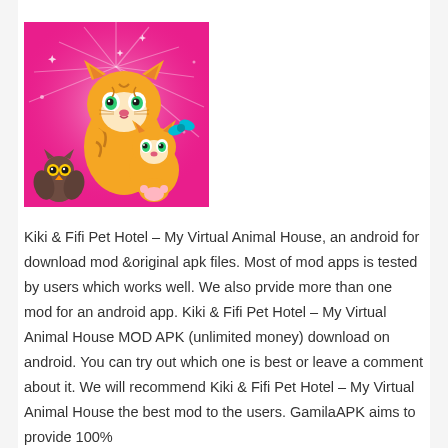[Figure (illustration): App icon for Kiki & Fifi Pet Hotel – My Virtual Animal House. Shows two cartoon tiger cubs on a pink sparkly background, with a small brown owl in the bottom left corner.]
Kiki & Fifi Pet Hotel – My Virtual Animal House, an android for download mod &original apk files. Most of mod apps is tested by users which works well. We also prvide more than one mod for an android app. Kiki & Fifi Pet Hotel – My Virtual Animal House MOD APK (unlimited money) download on android. You can try out which one is best or leave a comment about it. We will recommend Kiki & Fifi Pet Hotel – My Virtual Animal House the best mod to the users. GamilaAPK aims to provide 100%